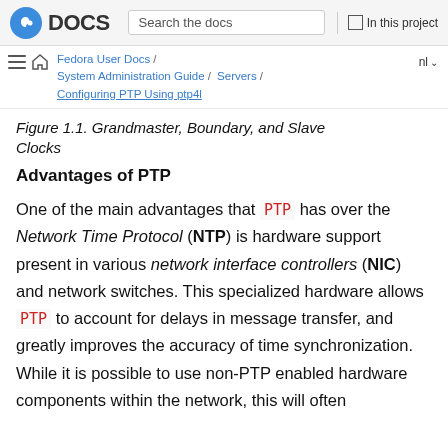DOCS | Search the docs | In this project
Fedora User Docs / System Administration Guide / Servers / Configuring PTP Using ptp4l | nl
Figure 1.1. Grandmaster, Boundary, and Slave Clocks
Advantages of PTP
One of the main advantages that PTP has over the Network Time Protocol (NTP) is hardware support present in various network interface controllers (NIC) and network switches. This specialized hardware allows PTP to account for delays in message transfer, and greatly improves the accuracy of time synchronization. While it is possible to use non-PTP enabled hardware components within the network, this will often